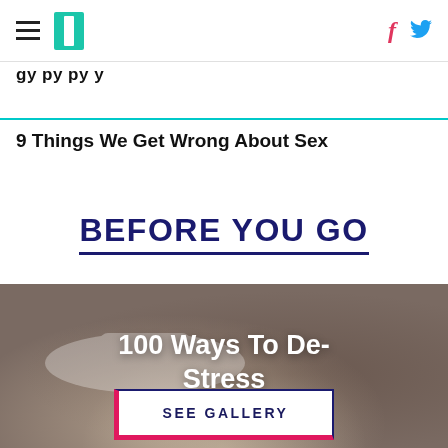HuffPost navigation header with hamburger menu, logo, Facebook and Twitter icons
9 Things We Get Wrong About Sex
BEFORE YOU GO
[Figure (photo): Person smiling, with text overlay '100 Ways To De-Stress' and a 'SEE GALLERY' button at the bottom]